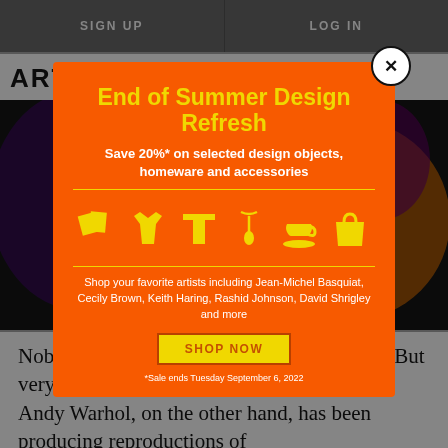SIGN UP | LOG IN
ARTSPACE
[Figure (screenshot): Artspace website screenshot with colorful artwork image in background]
[Figure (infographic): End of Summer Design Refresh promotional modal popup on orange background with yellow icons (books, t-shirt, shorts, necklace, cup, bag), SHOP NOW button. Text: End of Summer Design Refresh. Save 20%* on selected design objects, homeware and accessories. Shop your favorite artists including Jean-Michel Basquiat, Cecily Brown, Keith Haring, Rashid Johnson, David Shrigley and more. *Sale ends Tuesday September 6, 2022]
Nobody in the world doesn't want a Warhol. But very, very few people can afford one. After Andy Warhol, on the other hand, has been producing reproductions of